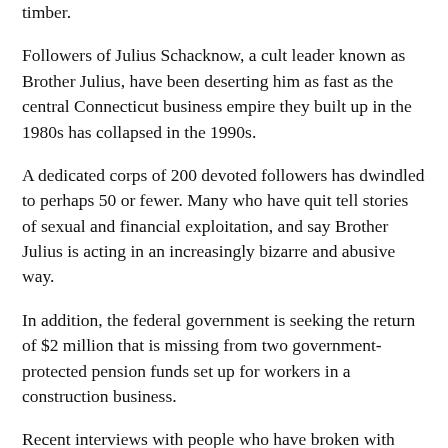timber.
Followers of Julius Schacknow, a cult leader known as Brother Julius, have been deserting him as fast as the central Connecticut business empire they built up in the 1980s has collapsed in the 1990s.
A dedicated corps of 200 devoted followers has dwindled to perhaps 50 or fewer. Many who have quit tell stories of sexual and financial exploitation, and say Brother Julius is acting in an increasingly bizarre and abusive way.
In addition, the federal government is seeking the return of $2 million that is missing from two government-protected pension funds set up for workers in a construction business.
Recent interviews with people who have broken with Schacknow, sources close to the secretive cult and public documents draw a picture of a disintegrating enterprise that had been built up around the Bible-quoting preacher and his "chief apostle," who had a genius for business ventures.
Schacknow, 68, has declined to be interviewed by The